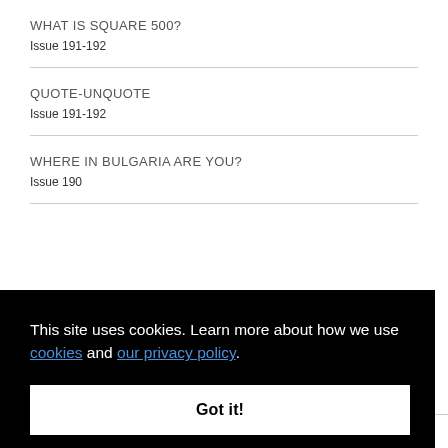WHAT IS SQUARE 500?
Issue 191-192
QUOTE-UNQUOTE
Issue 191-192
WHERE IN BULGARIA ARE YOU?
Issue 190
This site uses cookies. Learn more about how we use cookies and our privacy policy.
Got it!
BULGARIA'S OLDEST UNIVERSITY IS IN...